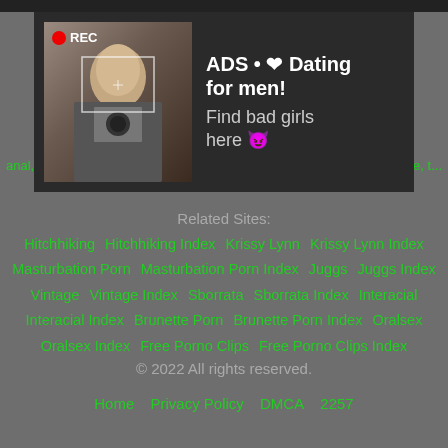[Figure (other): Advertisement banner with a photo of a woman taking a selfie in a mirror, with REC indicator and viewfinder overlay. Dark background with text 'ADS • ❤ Dating for men! Find bad girls here 😈']
anal,   e, t...
Related Sites:
Hitchhiking   Hitchhiking Index   Krissy Lynn   Krissy Lynn Index   Masturbation Porn   Masturbation Porn Index   Juggs   Juggs Index   Vintage   Vintage Index   Sborrata   Sborrata Index   Interacial   Interacial Index   Brunette Porn   Brunette Porn Index   Oralsex   Oralsex Index   Free Porno Clips   Free Porno Clips Index
© 2022 All rights reserved.
Home   Privacy Policy   DMCA   2257